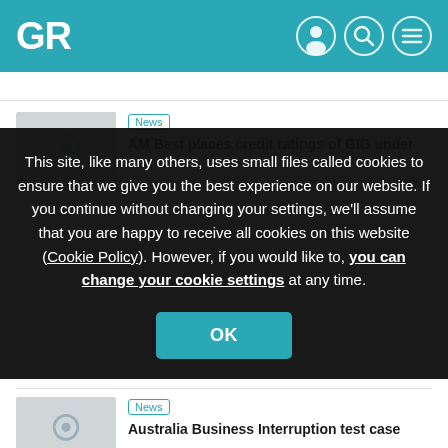GR
News
AM Best places credit ratings of GIG under
This site, like many others, uses small files called cookies to ensure that we give you the best experience on our website. If you continue without changing your settings, we'll assume that you are happy to receive all cookies on this website (Cookie Policy). However, if you would like to, you can change your cookie settings at any time.
OK
News
Australia Business Interruption test case